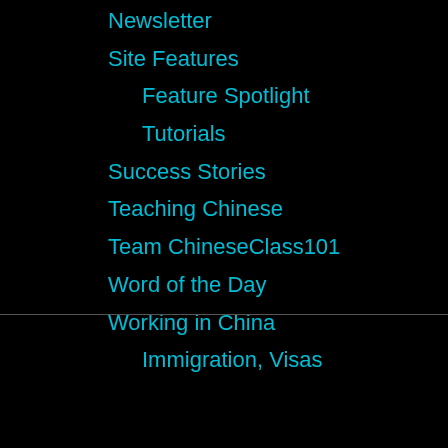Newsletter
Site Features
Feature Spotlight
Tutorials
Success Stories
Teaching Chinese
Team ChineseClass101
Word of the Day
Working in China
Immigration, Visas